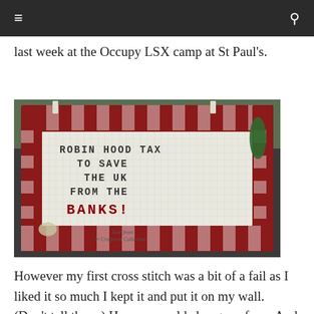last week at the Occupy LSX camp at St Paul's.
[Figure (photo): A cross-stitch embroidery piece on a red and white gingham fabric border reading 'ROBIN HOOD TAX TO SAVE THE UK FROM THE BANKS!' with 'love from Craftivist Collective' stitched at the bottom, hung outdoors at the Occupy LSX camp.]
However my first cross stitch was a bit of a fail as I liked it so much I kept it and put it on my wall. (Don't tell them.) How un-world changey of me. And now I am